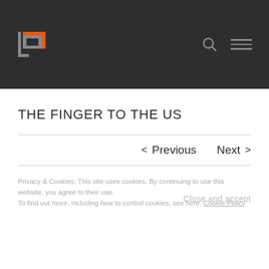[Figure (logo): Website logo: stylized letter 'a' with orange and gray geometric shapes forming a square bracket and letter design on dark background]
THE FINGER TO THE US
< Previous   Next >
Privacy & Cookies: This site uses cookies. By continuing to use this website, you agree to their use.
To find out more, including how to control cookies, see here: Cookie Policy
Close and accept